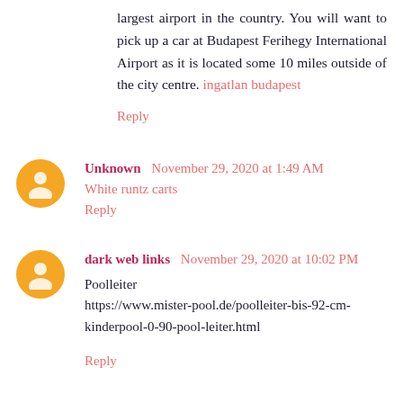largest airport in the country. You will want to pick up a car at Budapest Ferihegy International Airport as it is located some 10 miles outside of the city centre. ingatlan budapest
Reply
Unknown  November 29, 2020 at 1:49 AM
White runtz carts
Reply
dark web links  November 29, 2020 at 10:02 PM
Poolleiter
https://www.mister-pool.de/poolleiter-bis-92-cm-kinderpool-0-90-pool-leiter.html
Reply